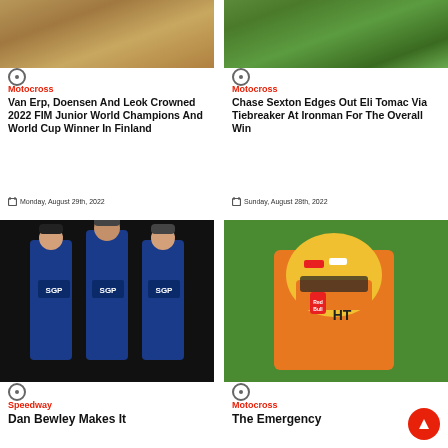[Figure (photo): Aerial view of dirt motocross track with tire marks]
[Figure (photo): Motocross rider jumping with Australian flag visible, green tree background]
Motocross
Van Erp, Doensen And Leok Crowned 2022 FIM Junior World Champions And World Cup Winner In Finland
Monday, August 29th, 2022
Motocross
Chase Sexton Edges Out Eli Tomac Via Tiebreaker At Ironman For The Overall Win
Sunday, August 28th, 2022
[Figure (photo): Three speedway riders in blue SGP team gear posing indoors against dark background]
[Figure (photo): Motocross rider in orange and yellow helmet and gear, close-up]
Speedway
Dan Bewley Makes It
Motocross
The Emergency